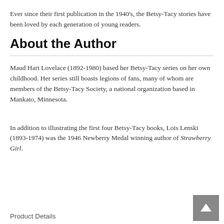Ever since their first publication in the 1940's, the Betsy-Tacy stories have been loved by each generation of young readers.
About the Author
Maud Hart Lovelace (1892-1980) based her Betsy-Tacy series on her own childhood. Her series still boasts legions of fans, many of whom are members of the Betsy-Tacy Society, a national organization based in Mankato, Minnesota.
In addition to illustrating the first four Betsy-Tacy books, Lois Lenski (1893-1974) was the 1946 Newberry Medal winning author of Strawberry Girl.
Product Details